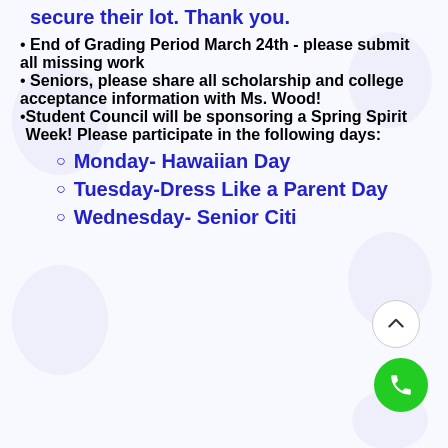secure their lot.  Thank you.
End of Grading Period March 24th - please submit all missing work
Seniors, please share all scholarship and college acceptance information with Ms. Wood!
Student Council will be sponsoring a Spring Spirit Week!  Please participate in the following days:
Monday- Hawaiian Day
Tuesday-Dress Like a Parent Day
Wednesday- Senior Citizen D...